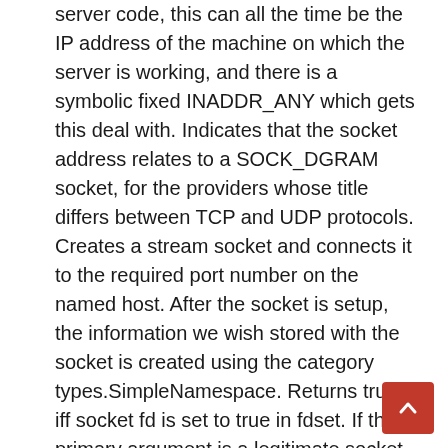server code, this can all the time be the IP address of the machine on which the server is working, and there is a symbolic fixed INADDR_ANY which gets this deal with. Indicates that the socket address relates to a SOCK_DGRAM socket, for the providers whose title differs between TCP and UDP protocols. Creates a stream socket and connects it to the required port number on the named host. After the socket is setup, the information we wish stored with the socket is created using the category types.SimpleNamespace. Returns true iff socket fd is set to true in fdset. If the primary argument is a legitimate socket, this call cannot fail, and so the code would not verify for errors. Observe: the usual library call